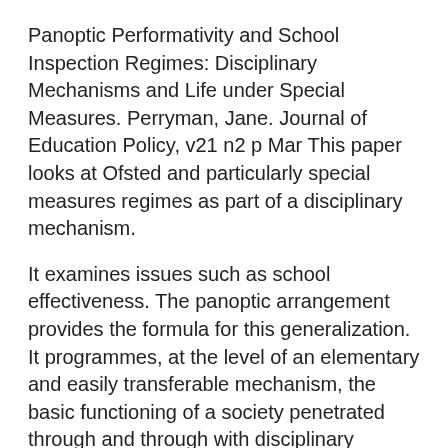Panoptic Performativity and School Inspection Regimes: Disciplinary Mechanisms and Life under Special Measures. Perryman, Jane. Journal of Education Policy, v21 n2 p Mar This paper looks at Ofsted and particularly special measures regimes as part of a disciplinary mechanism.
It examines issues such as school effectiveness. The panoptic arrangement provides the formula for this generalization. It programmes, at the level of an elementary and easily transferable mechanism, the basic functioning of a society penetrated through and through with disciplinary mechanisms.
There are two images, then, of discipline. Panopticism is a social theory named after the Panopticon, originally developed by French philosopher Michel Foucault in his book Discipline and Punish. The "panopticon" refers to an experimental laboratory of power in which behaviour could be modified, and Foucault viewed the panopticon as a symbol of the disciplinary society of surveillance.